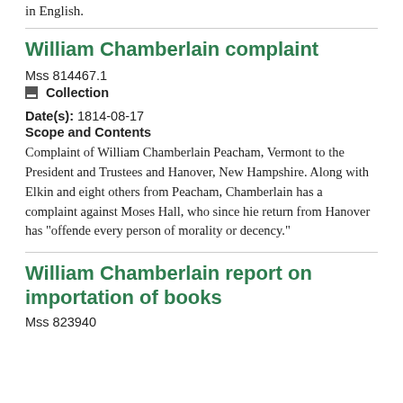in English.
William Chamberlain complaint
Mss 814467.1
Collection
Date(s): 1814-08-17
Scope and Contents
Complaint of William Chamberlain Peacham, Vermont to the President and Trustees and Hanover, New Hampshire. Along with Elkin and eight others from Peacham, Chamberlain has a complaint against Moses Hall, who since hie return from Hanover has "offende every person of morality or decency."
William Chamberlain report on importation of books
Mss 823940